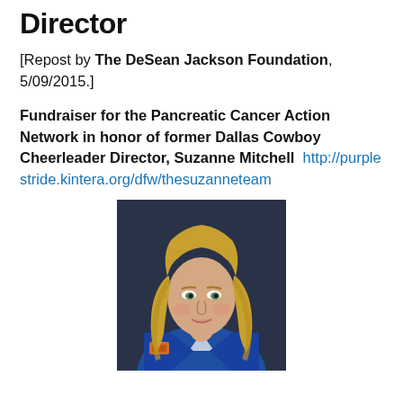Director
[Repost by The DeSean Jackson Foundation, 5/09/2015.]
Fundraiser for the Pancreatic Cancer Action Network in honor of former Dallas Cowboy Cheerleader Director, Suzanne Mitchell  http://purplestride.kintera.org/dfw/thesuzanneteam
[Figure (photo): Portrait photo of Suzanne Mitchell, a blonde woman wearing a blue jacket, smiling at the camera.]